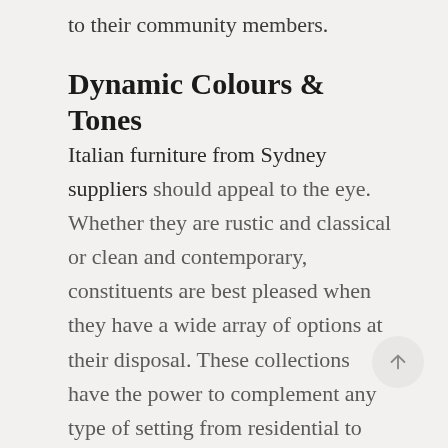to their community members.
Dynamic Colours & Tones
Italian furniture from Sydney suppliers should appeal to the eye. Whether they are rustic and classical or clean and contemporary, constituents are best pleased when they have a wide array of options at their disposal. These collections have the power to complement any type of setting from residential to commercial and traditional to modern, so interested shoppers should be spoiled for choice as